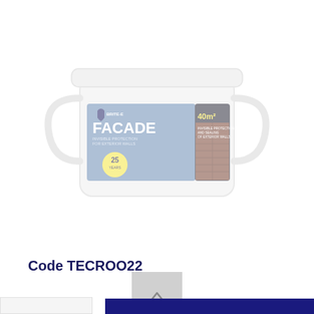[Figure (photo): A white plastic bucket/container with a blue and dark label reading 'FACADE', showing a brick wall texture, with text '40m²' and a yellow circular badge with '25', and coverage/protection descriptions. The image is faded/washed out.]
Code TECROO22